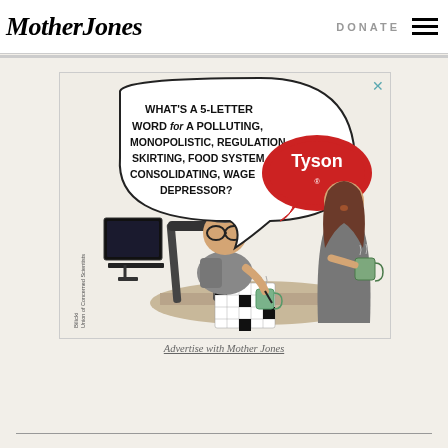Mother Jones | DONATE
[Figure (illustration): Political cartoon advertisement by Union of Concerned Scientists. A man doing a crossword puzzle asks 'WHAT'S A 5-LETTER WORD FOR A POLLUTING, MONOPOLISTIC, REGULATION-SKIRTING, FOOD SYSTEM CONSOLIDATING, WAGE DEPRESSOR?' A speech bubble with the Tyson logo answers. A woman stands nearby holding a coffee mug. Artist: Bilicki.]
Advertise with Mother Jones